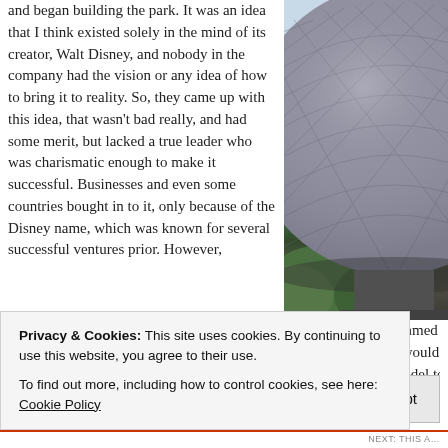and began building the park. It was an idea that I think existed solely in the mind of its creator, Walt Disney, and nobody in the company had the vision or any idea of how to bring it to reality. So, they came up with this idea, that wasn't bad really, and had some merit, but lacked a true leader who was charismatic enough to make it successful. Businesses and even some countries bought in to it, only because of the Disney name, which was known for several successful ventures prior. However, as they quickly found out, this wasn't exactly an idea that Walt dreamed up, and it creative vision and sustaining entertainment value that the public would embrace r this, the park soon began to falter and they started tweaking the model to try and s attract guests and hopefully have them return. But, once word got out that it was a
[Figure (photo): Photograph of the Spaceship Earth geodesic sphere at EPCOT center, taken from below at an angle. The large silver-grey triangulated sphere dominates the frame against a light blue sky, with green trees visible at the base.]
Privacy & Cookies: This site uses cookies. By continuing to use this website, you agree to their use.
To find out more, including how to control cookies, see here: Cookie Policy
Close and accept